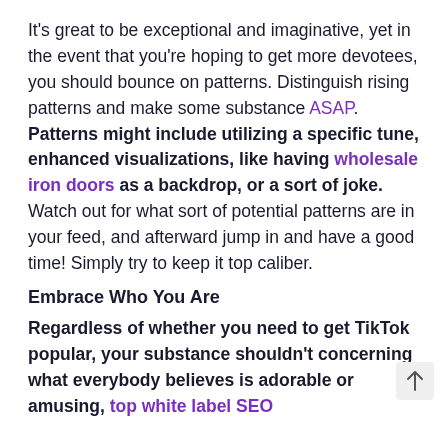It's great to be exceptional and imaginative, yet in the event that you're hoping to get more devotees, you should bounce on patterns. Distinguish rising patterns and make some substance ASAP. Patterns might include utilizing a specific tune, enhanced visualizations, like having wholesale iron doors as a backdrop, or a sort of joke. Watch out for what sort of potential patterns are in your feed, and afterward jump in and have a good time! Simply try to keep it top caliber.
Embrace Who You Are
Regardless of whether you need to get TikTok popular, your substance shouldn't concerning what everybody believes is adorable or amusing, top white label SEO